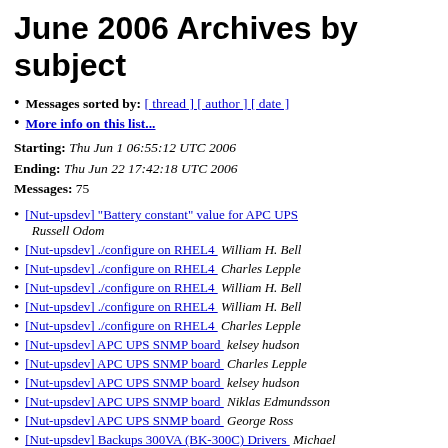June 2006 Archives by subject
Messages sorted by: [ thread ] [ author ] [ date ]
More info on this list...
Starting: Thu Jun 1 06:55:12 UTC 2006
Ending: Thu Jun 22 17:42:18 UTC 2006
Messages: 75
[Nut-upsdev] "Battery constant" value for APC UPS  Russell Odom
[Nut-upsdev] ./configure on RHEL4  William H. Bell
[Nut-upsdev] ./configure on RHEL4  Charles Lepple
[Nut-upsdev] ./configure on RHEL4  William H. Bell
[Nut-upsdev] ./configure on RHEL4  William H. Bell
[Nut-upsdev] ./configure on RHEL4  Charles Lepple
[Nut-upsdev] APC UPS SNMP board  kelsey hudson
[Nut-upsdev] APC UPS SNMP board  Charles Lepple
[Nut-upsdev] APC UPS SNMP board  kelsey hudson
[Nut-upsdev] APC UPS SNMP board  Niklas Edmundsson
[Nut-upsdev] APC UPS SNMP board  George Ross
[Nut-upsdev] Backups 300VA (BK-300C) Drivers  Michael Plourde
[Nut-upsdev] Backups 300VA (BK-300C) Drivers  Peter